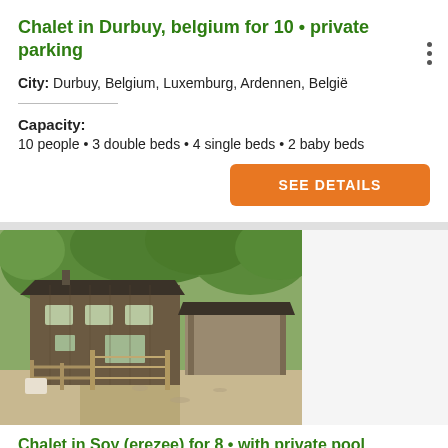Chalet in Durbuy, belgium for 10 • private parking
City: Durbuy, Belgium, Luxemburg, Ardennen, België
Capacity:
10 people • 3 double beds • 4 single beds • 2 baby beds
SEE DETAILS
[Figure (photo): Exterior photo of a wooden chalet with dark stained timber cladding, surrounded by trees, with a wooden gate and gravel driveway in the foreground, and a carport structure to the right.]
Chalet in Soy (erezee) for 8 • with private pool